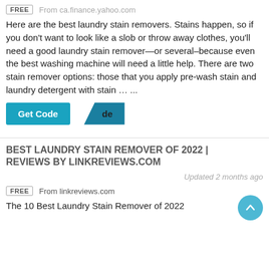FREE  From ca.finance.yahoo.com
Here are the best laundry stain removers. Stains happen, so if you don't want to look like a slob or throw away clothes, you'll need a good laundry stain remover—or several–because even the best washing machine will need a little help. There are two stain remover options: those that you apply pre-wash stain and laundry detergent with stain … ...
[Figure (screenshot): Get Code button in teal/blue color with overlapping dark section showing 'de' text]
BEST LAUNDRY STAIN REMOVER OF 2022 | REVIEWS BY LINKREVIEWS.COM
Updated 2 months ago
FREE  From linkreviews.com
The 10 Best Laundry Stain Remover of 2022